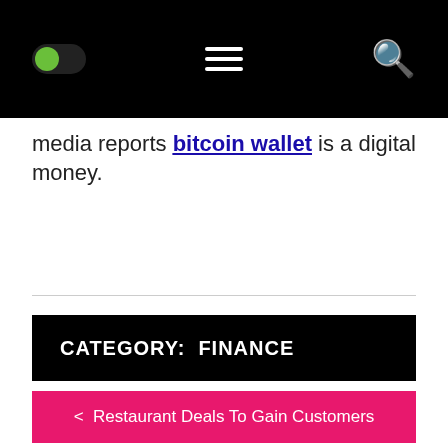Toggle menu Search
media reports bitcoin wallet is a digital money.
CATEGORY:  FINANCE
< Restaurant Deals To Gain Customers
SOME MAIN ADVANTAGES  OF INVESTING IN CRYPTOCURRENCIES >